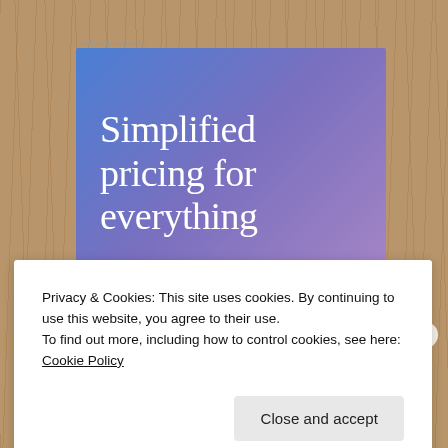Advertisements
[Figure (illustration): Advertisement card with gradient background (blue to purple) showing large white serif text: 'Simplified pricing for everything']
Privacy & Cookies: This site uses cookies. By continuing to use this website, you agree to their use.
To find out more, including how to control cookies, see here: Cookie Policy
Close and accept